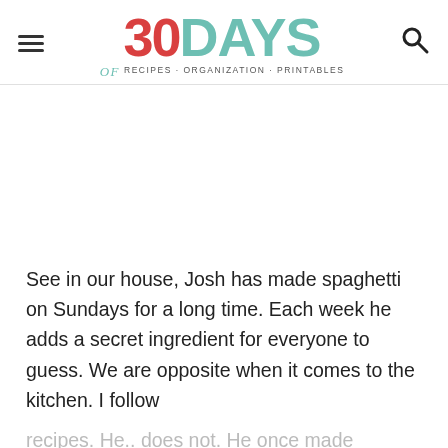30 DAYS of RECIPES · ORGANIZATION · PRINTABLES
See in our house, Josh has made spaghetti on Sundays for a long time.  Each week he adds a secret ingredient for everyone to guess.  We are opposite when it comes to the kitchen.  I follow recipes.  He.. does not.  He once made scrambled eggs and added vanilla extract.  YES HE DID.  For